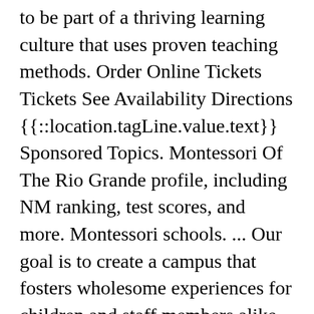( ... ) to be part of a thriving learning culture that uses proven teaching methods. Order Online Tickets Tickets See Availability Directions {{::location.tagLine.value.text}} Sponsored Topics. Montessori Of The Rio Grande profile, including NM ranking, test scores, and more. Montessori schools. ... Our goal is to create a campus that fosters wholesome experiences for children and staff members alike, as well as an environment that has a strong connection with the natural environment. The diversity score of Montessori Of The Rio Grande is 0.54, which is less than the diversity score at state average of 0.58. Find out how Montessori Of The Rio Grande School in